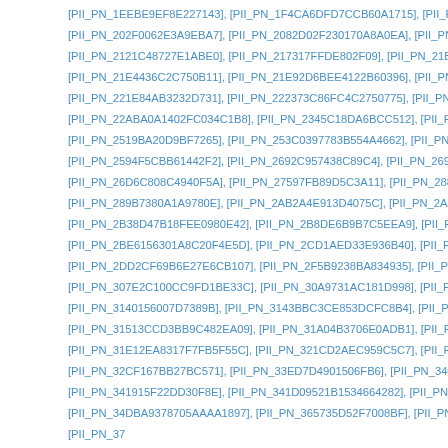[PII_PN_1EEBE9EF8E227143], [PII_PN_1F4CA6DFD7CCB60A1715], [PII_PN_1F954837...
[PII_PN_202F0062E3A9EBA7], [PII_PN_2082D02F230170A8A0EA], [PII_PN_209513FC...
[PII_PN_2121C48727E1ABE0], [PII_PN_217317FFDE802F09], [PII_PN_21B9045D86DC...
[PII_PN_21E4436C2C750B11], [PII_PN_21E92D6BEE4122B60396], [PII_PN_221B20A2...
[PII_PN_221E84AB3232D731], [PII_PN_222373C86FC4C2750775], [PII_PN_2229CC0F...
[PII_PN_22ABA0A1402FC034C1B8], [PII_PN_2345C18DA6BCC512], [PII_PN_2509AF4...
[PII_PN_2519BA20D9BF7265], [PII_PN_253C0397783B554A4662], [PII_PN_25880D2F...
[PII_PN_2594F5CBB61442F2], [PII_PN_2692C957438C89C4], [PII_PN_2696EDE8196B...
[PII_PN_26D6C808C4940F5A], [PII_PN_27597FB89D5C3A11], [PII_PN_28812BDCD7C...
[PII_PN_289B7380A1A9780E], [PII_PN_2AB2A4E913D4075C], [PII_PN_2AF776C1977A...
[PII_PN_2B38D47B18FEE0980E42], [PII_PN_2B8DE6B9B7C5EEA9], [PII_PN_2BBB1E6...
[PII_PN_2BE6156301A8C20F4E5D], [PII_PN_2CD1AED33E936B40], [PII_PN_2D896A8...
[PII_PN_2DD2CF69B6E27E6CB107], [PII_PN_2F5B9238BA834935], [PII_PN_30128359...
[PII_PN_307E2C100CC9FD1BE33C], [PII_PN_30A9731AC181D998], [PII_PN_310A38D...
[PII_PN_3140156007D7389B], [PII_PN_3143BBC3CE853DCFC8B4], [PII_PN_314CA69...
[PII_PN_31513CCD3BB9C482EA09], [PII_PN_31A04B3706E0ADB1], [PII_PN_31B3AD...
[PII_PN_31E12EA8317F7FB5F55C], [PII_PN_321CD2AEC959C5C7], [PII_PN_32802A53...
[PII_PN_32CF167BB27BC571], [PII_PN_33ED7D4901506FB6], [PII_PN_3403FE2EF23A...
[PII_PN_341915F22DD30F8E], [PII_PN_341D09521B1534664282], [PII_PN_34261D64...
[PII_PN_34DBA9378705AAAA1897], [PII_PN_365735D52F7008BF], [PII_PN_36A559B0...
[PII_PN_370D4...], [PII_PN_37A0...], ...